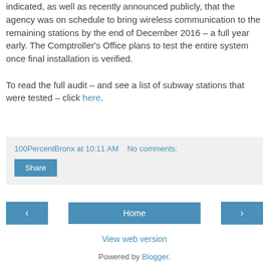indicated, as well as recently announced publicly, that the agency was on schedule to bring wireless communication to the remaining stations by the end of December 2016 – a full year early. The Comptroller's Office plans to test the entire system once final installation is verified.
To read the full audit – and see a list of subway stations that were tested – click here.
100PercentBronx at 10:11 AM   No comments:
Share
‹
Home
›
View web version
Powered by Blogger.